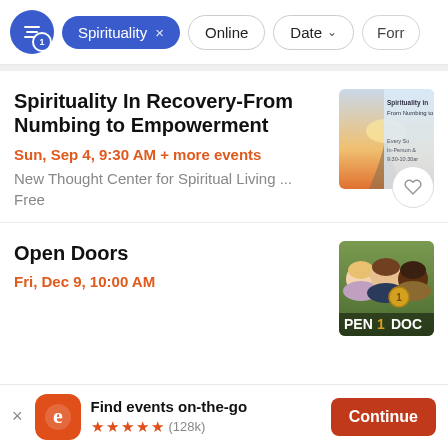Spirituality x  Online  Date  Form
Spirituality In Recovery-From Numbing to Empowerment
Sun, Sep 4, 9:30 AM + more events
New Thought Center for Spiritual Living ...
Free
Open Doors
Fri, Dec 9, 10:00 AM
Find events on-the-go ★★★★★ (128k)  Continue